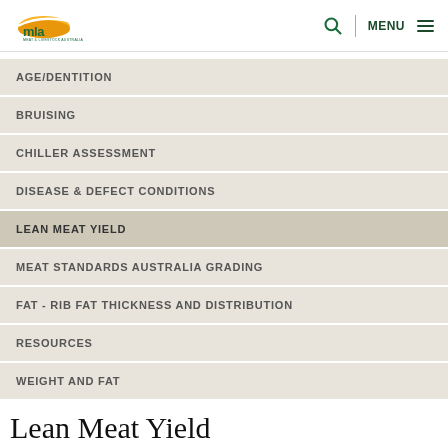MLA - Meat & Livestock Australia
AGE/DENTITION
BRUISING
CHILLER ASSESSMENT
DISEASE & DEFECT CONDITIONS
LEAN MEAT YIELD
MEAT STANDARDS AUSTRALIA GRADING
FAT - RIB FAT THICKNESS AND DISTRIBUTION
RESOURCES
WEIGHT AND FAT
Lean Meat Yield